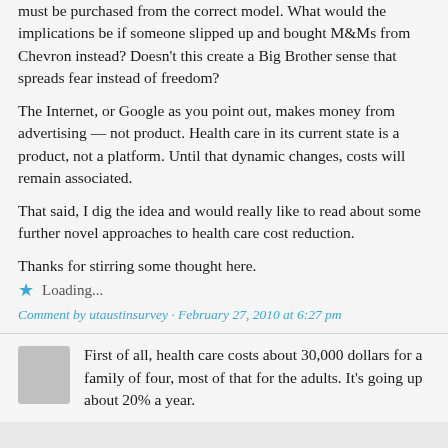must be purchased from the correct model. What would the implications be if someone slipped up and bought M&Ms from Chevron instead? Doesn't this create a Big Brother sense that spreads fear instead of freedom?
The Internet, or Google as you point out, makes money from advertising — not product. Health care in its current state is a product, not a platform. Until that dynamic changes, costs will remain associated.
That said, I dig the idea and would really like to read about some further novel approaches to health care cost reduction.
Thanks for stirring some thought here.
Loading...
Comment by utaustinsurvey · February 27, 2010 at 6:27 pm
First of all, health care costs about 30,000 dollars for a family of four, most of that for the adults. It's going up about 20% a year.